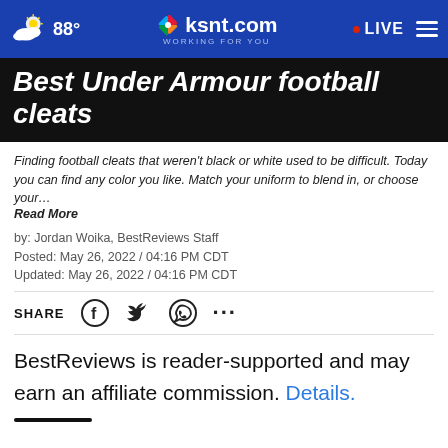88° ksnt.com WORKING FOR YOU LIVE
Best Under Armour football cleats
Finding football cleats that weren't black or white used to be difficult. Today you can find any color you like. Match your uniform to blend in, or choose your… Read More
by: Jordan Woika, BestReviews Staff
Posted: May 26, 2022 / 04:16 PM CDT
Updated: May 26, 2022 / 04:16 PM CDT
SHARE
BestReviews is reader-supported and may earn an affiliate commission. Details.